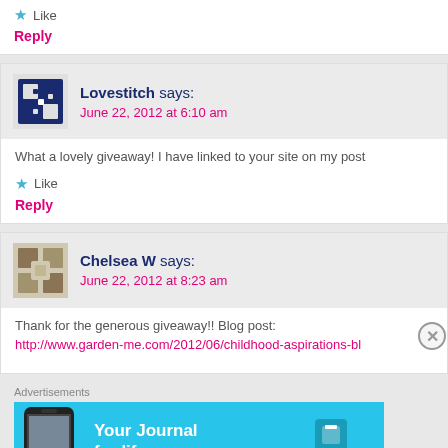★ Like
Reply
Lovestitch says: June 22, 2012 at 6:10 am
What a lovely giveaway! I have linked to your site on my post
★ Like
Reply
Chelsea W says: June 22, 2012 at 8:23 am
Thank for the generous giveaway!! Blog post: http://www.garden-me.com/2012/06/childhood-aspirations-bl
Advertisements
[Figure (illustration): Day One app advertisement banner - blue background with phone image, text 'Your Journal for life' and DAY ONE logo]